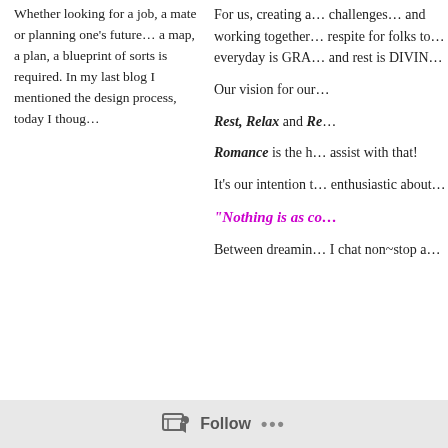Whether looking for a job, a mate or planning one's future… a map, a plan, a blueprint of sorts is required. In my last blog I mentioned the design process, today I thoug…
For us, creating a… challenges… and working together… respite for folks to… everyday is GRA… and rest is DIVIN…
Our vision for our…
Rest, Relax and Re…
Romance is the h… assist with that!
It's our intention t… enthusiastic about…
"Nothing is as co…
Between dreamin… I chat non~stop a…
Follow •••